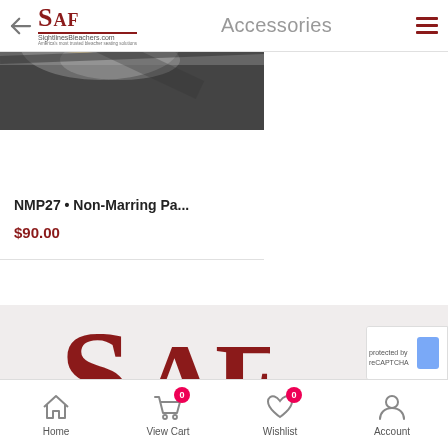SAF SightlinesBleachers.com — Accessories
[Figure (photo): Product image of NMP27 Non-Marring Pad, showing dark and light textured surface]
NMP27 • Non-Marring Pa...
$90.00
[Figure (logo): Large red SAF logo letters in footer background area]
Home | View Cart (0) | Wishlist (0) | Account